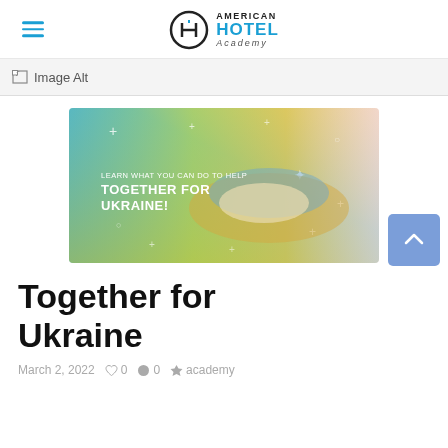American Hotel Academy
[Figure (screenshot): Broken image placeholder showing 'Image Alt' text]
[Figure (illustration): Ukraine solidarity banner showing hands holding a map of Ukraine with text 'LEARN WHAT YOU CAN DO TO HELP TOGETHER FOR UKRAINE!' on a blue-yellow gradient background]
Together for Ukraine
March 2, 2022  ♡ 0  ● 0  ⬡ academy